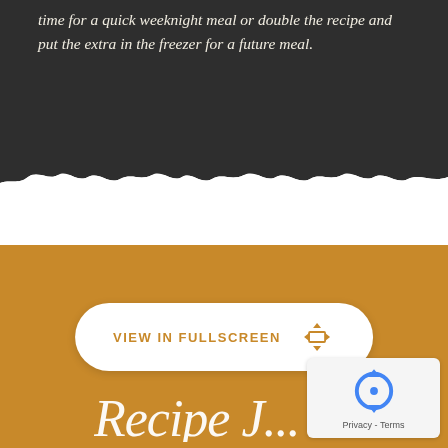time for a quick weeknight meal or double the recipe and put the extra in the freezer for a future meal.
[Figure (illustration): Torn paper edge transition from dark background to white, then to golden/amber colored section below]
[Figure (screenshot): Golden/amber background section with a white pill-shaped button reading 'VIEW IN FULLSCREEN' with a fullscreen/expand icon in amber color]
[Figure (illustration): reCAPTCHA privacy badge in bottom right corner with blue arrow logo and 'Privacy - Terms' text]